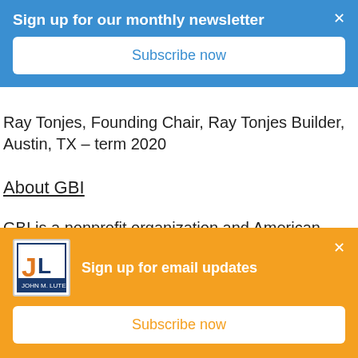[Figure (screenshot): Blue popup banner: 'Sign up for our monthly newsletter' with a 'Subscribe now' white button and a close X]
Ray Tonjes, Founding Chair, Ray Tonjes Builder, Austin, TX – term 2020
About GBI
GBI is a nonprofit organization and American National Standards Institute (ANSI) Standards
[Figure (screenshot): Orange popup banner with John M. Luter Architects logo: 'Sign up for email updates' with a 'Subscribe now' white button and a close X]